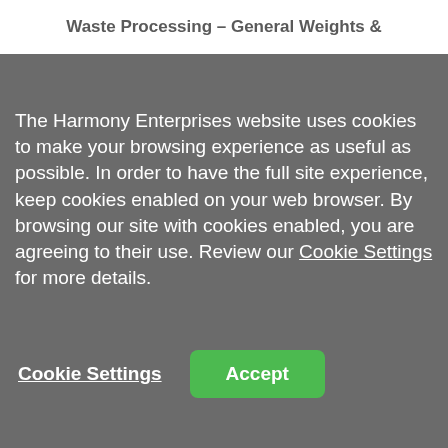Waste Processing – General Weights &
The Harmony Enterprises website uses cookies to make your browsing experience as useful as possible. In order to have the full site experience, keep cookies enabled on your web browser. By browsing our site with cookies enabled, you are agreeing to their use. Review our Cookie Settings for more details.
Cookie Settings
Accept